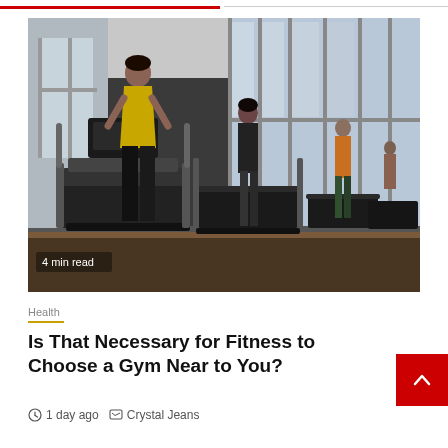[Figure (photo): People running on treadmills in a gym with large windows. A woman in a yellow top and black pants is in the foreground. '4 min read' label overlaid at bottom left.]
Health
Is That Necessary for Fitness to Choose a Gym Near to You?
1 day ago  Crystal Jeans